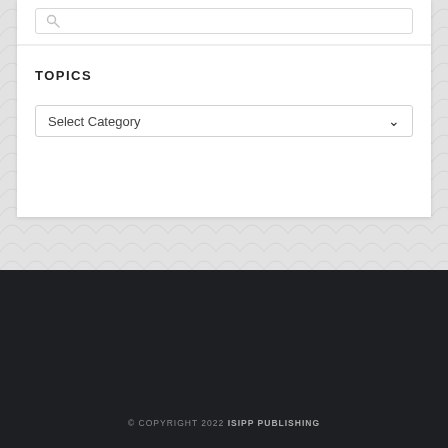[Figure (screenshot): Website UI showing a search bar input field with a magnifying glass icon, set inside a white card on a grey wave-pattern background.]
TOPICS
[Figure (screenshot): Select Category dropdown UI element with a chevron arrow on the right.]
© COPYRIGHT 2022 ISIPP PUBLISHING